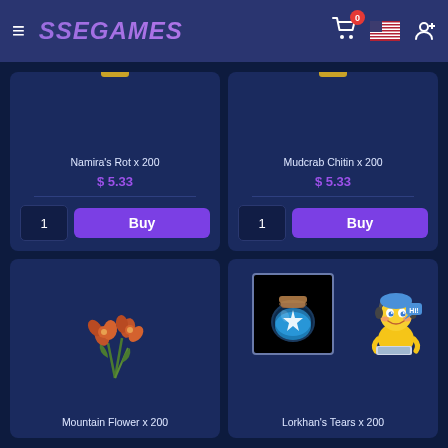SSEGAMES
Namira's Rot x 200
$ 5.33
Mudcrab Chitin x 200
$ 5.33
[Figure (illustration): Orange/red flowers with green stems - Mountain Flower game item]
Mountain Flower x 200
[Figure (illustration): Blue glowing jar/bottle game item (Lorkhan's Tears) with customer support character]
Lorkhan's Tears x 200